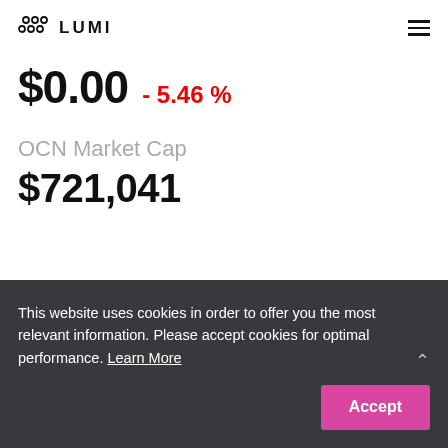LUMI
$0.00  - 5.46 %
OCN Market Cap
$721,041
This website uses cookies in order to offer you the most relevant information. Please accept cookies for optimal performance. Learn More
Accept